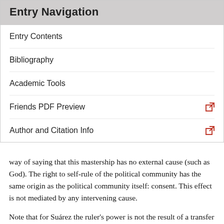Entry Navigation
Entry Contents
Bibliography
Academic Tools
Friends PDF Preview
Author and Citation Info
way of saying that this mastership has no external cause (such as God). The right to self-rule of the political community has the same origin as the political community itself: consent. This effect is not mediated by any intervening cause.
Note that for Suárez the ruler's power is not the result of a transfer or alienation of individual self-rule rights. Hence, Suárez's ruler is not, as in Hobbes, the depositary of a part of the citizens' right over themselves. The seat of power remains always, if only latently, with the community